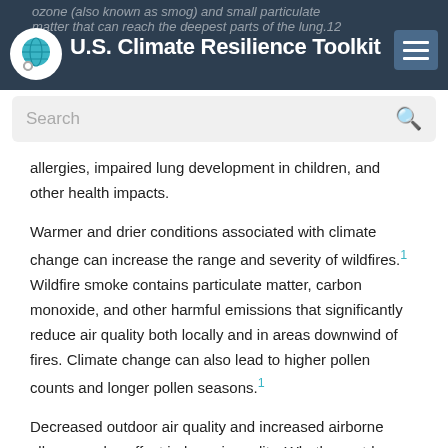U.S. Climate Resilience Toolkit
ozone (also known as smog) and small particulate matter that can reach the deepest parts of the lung.12
allergies, impaired lung development in children, and other health impacts.
Warmer and drier conditions associated with climate change can increase the range and severity of wildfires.1 Wildfire smoke contains particulate matter, carbon monoxide, and other harmful emissions that significantly reduce air quality both locally and in areas downwind of fires. Climate change can also lead to higher pollen counts and longer pollen seasons.1
Decreased outdoor air quality and increased airborne allergens also affect indoor air quality. Whether outdoors or indoors, poor air quality can negatively